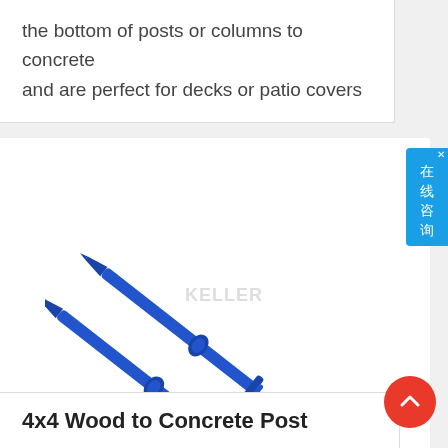the bottom of posts or columns to concrete and are perfect for decks or patio covers
[Figure (photo): Two blue metal post anchor bolts with flanged ends, used for attaching wood posts to concrete. Watermark text reads 'KELLER' partially visible in center.]
4x4 Wood to Concrete Post